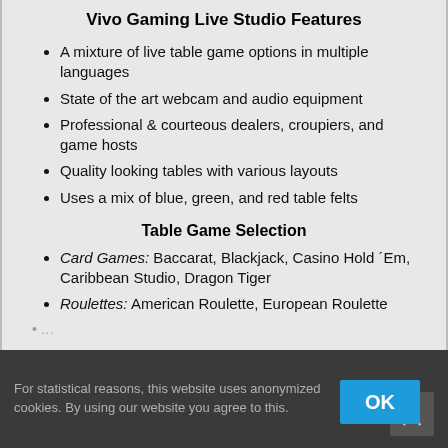Vivo Gaming Live Studio Features
A mixture of live table game options in multiple languages
State of the art webcam and audio equipment
Professional & courteous dealers, croupiers, and game hosts
Quality looking tables with various layouts
Uses a mix of blue, green, and red table felts
Table Game Selection
Card Games: Baccarat, Blackjack, Casino Hold ´Em, Caribbean Studio, Dragon Tiger
Roulettes: American Roulette, European Roulette
For statistical reasons, this website uses anonymized cookies. By using our website you agree to this.